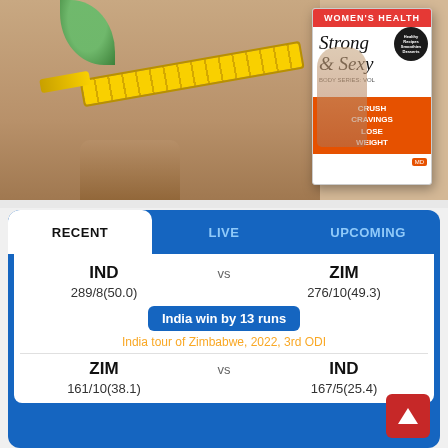[Figure (photo): Fitness/health image showing a woman measuring her thigh with a yellow tape measure, with fitness magazine covers overlaid on the right side showing 'Strong & Sexy' text and orange 'Crush Cravings Lose Weight' banner.]
| Team | vs | Team |
| --- | --- | --- |
| IND | vs | ZIM |
| 289/8(50.0) |  | 276/10(49.3) |
| India win by 13 runs |  |  |
| India tour of Zimbabwe, 2022, 3rd ODI |  |  |
| ZIM | vs | IND |
| 161/10(38.1) |  | 167/5(25.4) |